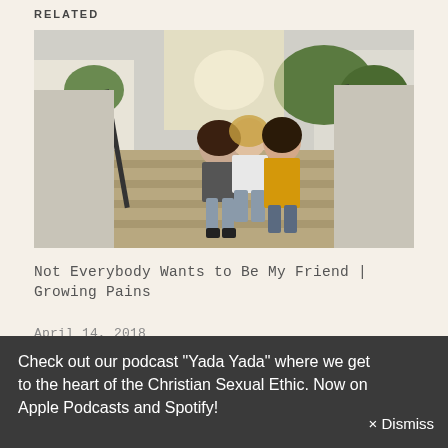RELATED
[Figure (photo): Three young women sitting together on outdoor stone steps, smiling and posing. Urban setting with buildings and trees in background. One woman wearing a yellow jacket.]
Not Everybody Wants to Be My Friend | Growing Pains
April 14, 2018
In "Friends"
[Figure (photo): Partial view of a colorful image strip at the bottom of the content area, showing orange, green, and red color segments.]
Check out our podcast "Yada Yada" where we get to the heart of the Christian Sexual Ethic. Now on Apple Podcasts and Spotify!
× Dismiss